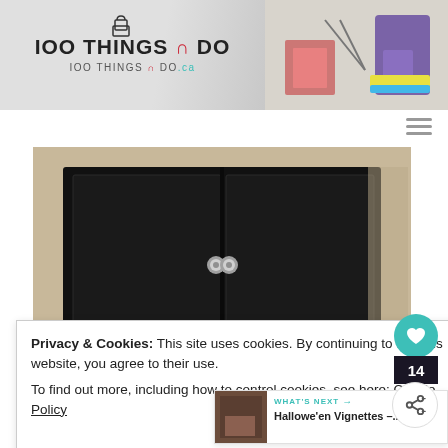[Figure (screenshot): Website header for '100 Things N Do' (100thingsNdo.ca) with logo on left and craft supplies photo on right]
[Figure (photo): Black painted wooden cabinet with two doors and round knobs against a beige wall]
Privacy & Cookies: This site uses cookies. By continuing to use this website, you agree to their use.
To find out more, including how to control cookies, see here: Cookie Policy
Close and accept
14
WHAT'S NEXT → Hallowe'en Vignettes –...